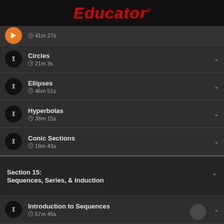Educator
41m 27s
Circles
21m 3s
Ellipses
46m 51s
Hyperbolas
38m 15s
Conic Sections
18m 43s
Section 15: Sequences, Series, & Induction
Introduction to Sequences
57m 45s
Introduction to Series
40m 27s